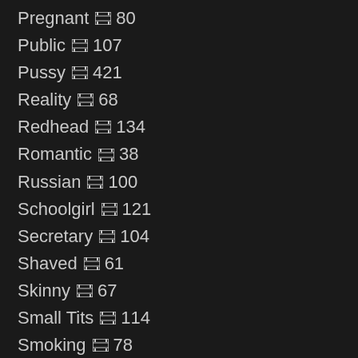Pregnant 🎞 80
Public 🎞 107
Pussy 🎞 421
Reality 🎞 68
Redhead 🎞 134
Romantic 🎞 38
Russian 🎞 100
Schoolgirl 🎞 121
Secretary 🎞 104
Shaved 🎞 61
Skinny 🎞 67
Small Tits 🎞 114
Smoking 🎞 78
Softcore 🎞 371
Solo 🎞 93
Spanking 🎞 179
Sport 🎞 74
Squirting 🎞 40